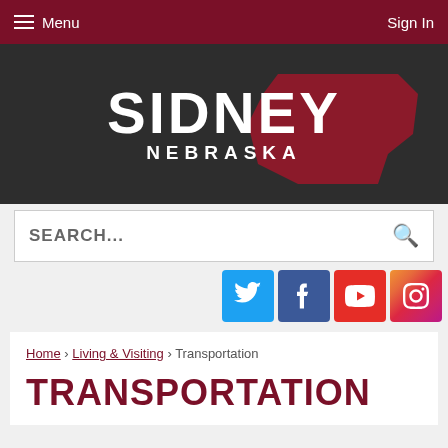Menu | Sign In
[Figure (logo): Sidney Nebraska city logo with white text 'SIDNEY NEBRASKA' and red Nebraska state shape silhouette on dark background]
SEARCH...
[Figure (infographic): Social media icons row: Twitter (blue), Facebook (dark blue), YouTube (red), Instagram (gradient)]
Home › Living & Visiting › Transportation
TRANSPORTATION